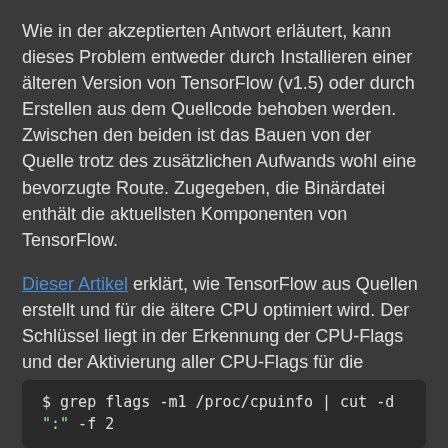Wie in der akzeptierten Antwort erläutert, kann dieses Problem entweder durch Installieren einer älteren Version von TensorFlow (v1.5) oder durch Erstellen aus dem Quellcode behoben werden. Zwischen den beiden ist das Bauen von der Quelle trotz des zusätzlichen Aufwands wohl eine bevorzugte Route. Zugegeben, die Binärdatei enthält die aktuellsten Komponenten von TensorFlow.
Dieser Artikel erklärt, wie TensorFlow aus Quellen erstellt und für die ältere CPU optimiert wird. Der Schlüssel liegt in der Erkennung der CPU-Flags und der Aktivierung aller CPU-Flags für die Optimierung bei der Konfiguration des Builds.
Der folgende Befehl wird zum Erkennen allgemeiner CPU-Optimierungsflags verwendet:
[Figure (screenshot): Code block showing terminal command: $ grep flags -m1 /proc/cpuinfo | cut -d ":" -f 2]